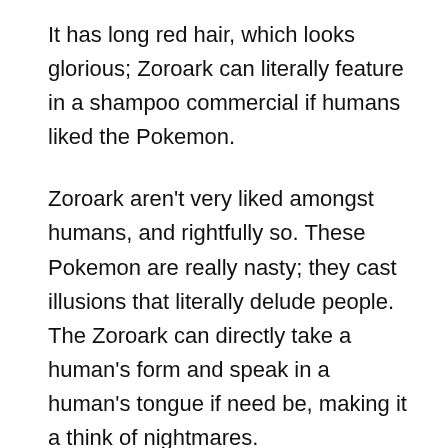It has long red hair, which looks glorious; Zoroark can literally feature in a shampoo commercial if humans liked the Pokemon.
Zoroark aren't very liked amongst humans, and rightfully so. These Pokemon are really nasty; they cast illusions that literally delude people. The Zoroark can directly take a human's form and speak in a human's tongue if need be, making it a think of nightmares.